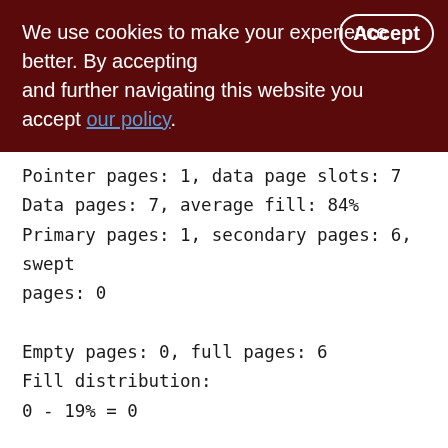We use cookies to make your experience better. By accepting and further navigating this website you accept our policy.
Pointer pages: 1, data page slots: 7
Data pages: 7, average fill: 84%
Primary pages: 1, secondary pages: 6, swept pages: 0
Empty pages: 0, full pages: 6
Fill distribution:
0 - 19% = 0
20 - 39% = 0
40 - 59% = 1
60 - 79% = 1
80 - 99% = 5